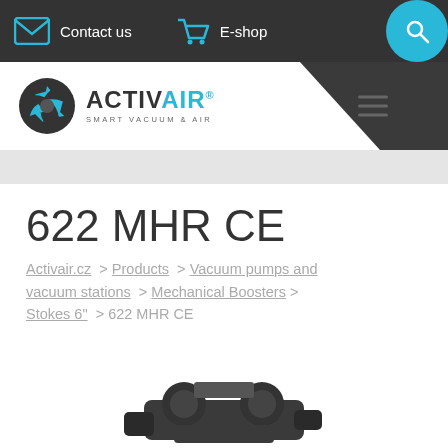Contact us  E-shop
[Figure (logo): ActivAir logo with stylized aperture/fan icon and text ACTIVAIR SMART VACUUM & AIR]
622 MHR CE
Activair.cz > Products > Vacuum pumps and vacuum stations > Mechanical Boosters > Stokes 6" > 622 MHR CE
[Figure (photo): Partial photo of the 622 MHR CE mechanical booster pump, dark/black industrial equipment visible at bottom of page]